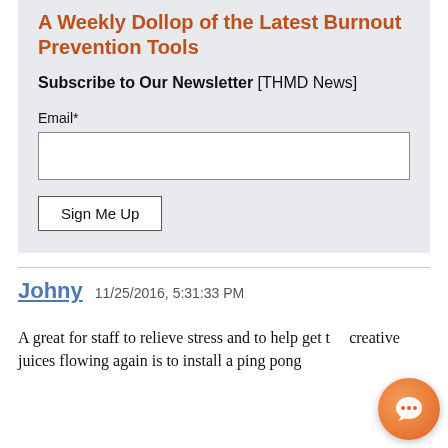A Weekly Dollop of the Latest Burnout Prevention Tools
Subscribe to Our Newsletter [THMD News]
Email*
Sign Me Up
Johny 11/25/2016, 5:31:33 PM
A great for staff to relieve stress and to help get the creative juices flowing again is to install a ping pong